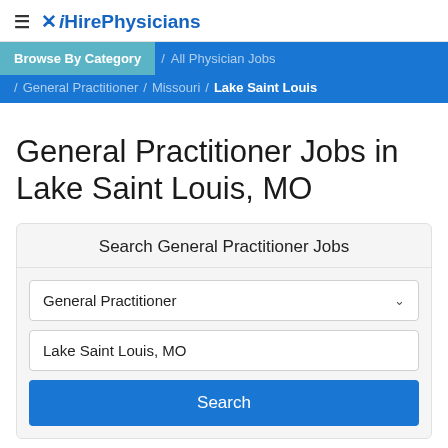≡ ✕ iHirePhysicians
Browse By Category / All Physician Jobs / General Practitioner / Missouri / Lake Saint Louis
General Practitioner Jobs in Lake Saint Louis, MO
Search General Practitioner Jobs
General Practitioner
Lake Saint Louis, MO
Search